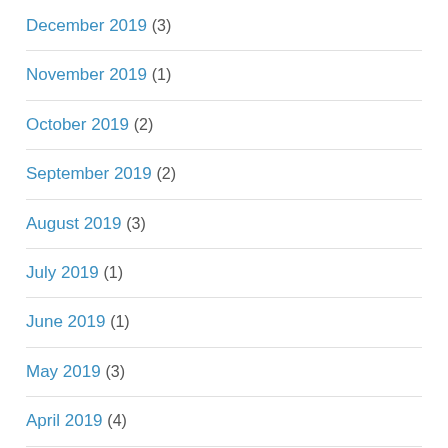December 2019 (3)
November 2019 (1)
October 2019 (2)
September 2019 (2)
August 2019 (3)
July 2019 (1)
June 2019 (1)
May 2019 (3)
April 2019 (4)
March 2019 (4)